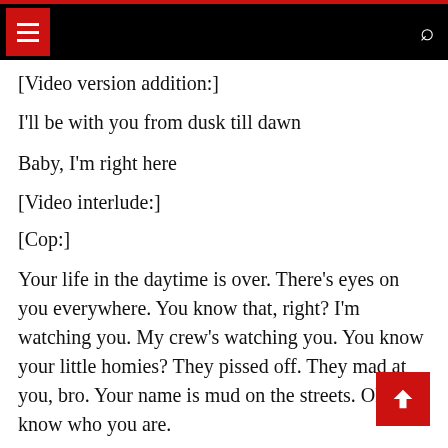[navigation bar with menu and search icons]
[Video version addition:]
I'll be with you from dusk till dawn
Baby, I'm right here
[Video interlude:]
[Cop:]
Your life in the daytime is over. There's eyes on you everywhere. You know that, right? I'm watching you. My crew's watching you. You know your little homies? They pissed off. They mad at you, bro. Your name is mud on the streets. Oh, I know who you are.
[Zayn:]